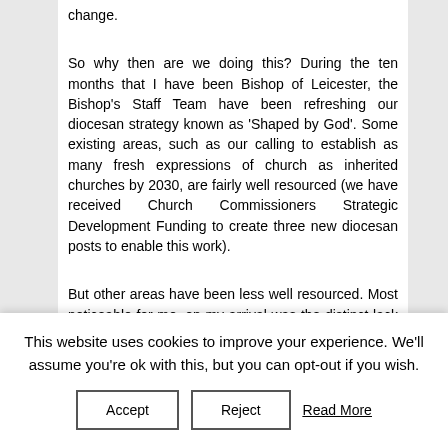change.
So why then are we doing this? During the ten months that I have been Bishop of Leicester, the Bishop's Staff Team have been refreshing our diocesan strategy known as 'Shaped by God'. Some existing areas, such as our calling to establish as many fresh expressions of church as inherited churches by 2030, are fairly well resourced (we have received Church Commissioners Strategic Development Funding to create three new diocesan posts to enable this work).
But other areas have been less well resourced. Most noticeable for me, on my arrival was the distinct lack of BAME Christians in our churches as well as in leadership roles. This will be no surprise to many, but I had genuinely
This website uses cookies to improve your experience. We'll assume you're ok with this, but you can opt-out if you wish.
Accept   Reject   Read More